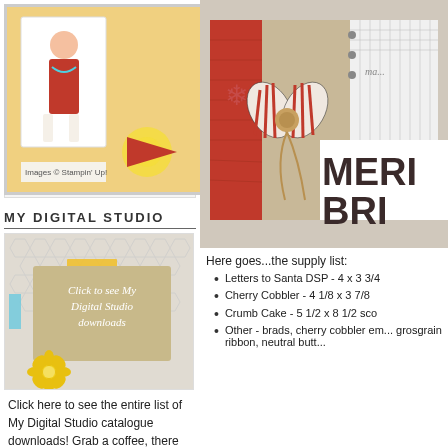[Figure (photo): Stampin Up catalog image with a figure in red dress, CLICK HERE text and red arrow]
Images © Stampin' Up!
MY DIGITAL STUDIO
[Figure (photo): My Digital Studio card image with chalkboard text: Click to see My Digital Studio downloads, with yellow flower and tape]
Click here to see the entire list of My Digital Studio catalogue downloads! Grab a coffee, there are a ton!
[Figure (photo): Handmade Christmas card with red and cream striped fabric bow, red patterned paper, kraft paper, and MERRY BRIGHT text]
Here goes...the supply list:
Letters to Santa DSP - 4 x 3 3/4
Cherry Cobbler - 4 1/8 x 3 7/8
Crumb Cake - 5 1/2 x 8 1/2 sco
Other - brads, cherry cobbler em... grosgrain ribbon, neutral butt...